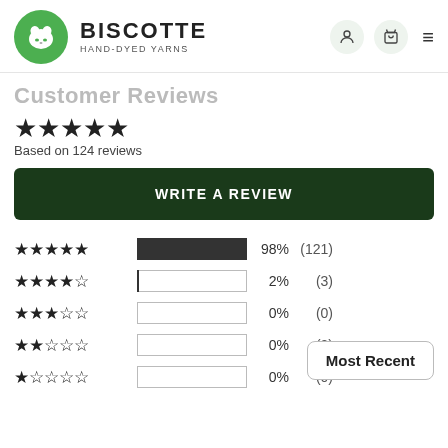BISCOTTE HAND-DYED YARNS
Customer Reviews
★★★★★
Based on 124 reviews
WRITE A REVIEW
[Figure (bar-chart): Rating breakdown]
Most Recent